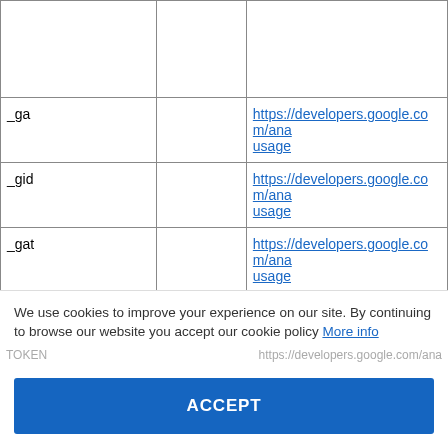|  |  |  |
| --- | --- | --- |
|  |  |  |
| _ga |  | https://developers.google.com/ana usage |
| _gid |  | https://developers.google.com/ana usage |
| _gat |  | https://developers.google.com/ana usage |
We use cookies to improve your experience on our site. By continuing to browse our website you accept our cookie policy More info